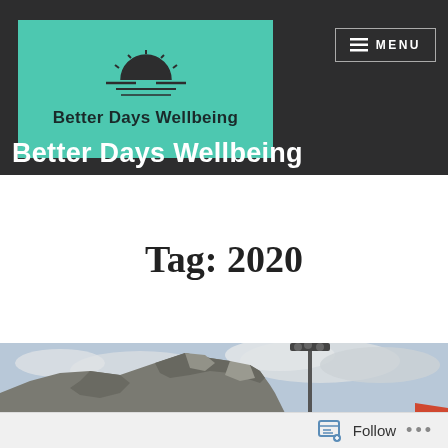[Figure (logo): Better Days Wellbeing logo: teal/mint background with a sun-rising-over-water icon and bold text 'Better Days Wellbeing']
≡ MENU
Better Days Wellbeing
Tag: 2020
[Figure (photo): Outdoor photograph showing a large rocky cliff or mountain (appears to be the Rock of Gibraltar) against a cloudy sky, with a tall floodlight pole in the foreground and orange rooftops visible at the bottom right]
Follow ...